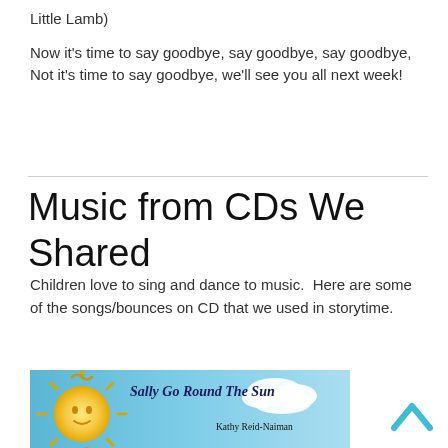Little Lamb)
Now it's time to say goodbye, say goodbye, say goodbye,
Not it's time to say goodbye, we'll see you all next week!
Music from CDs We Shared
Children love to sing and dance to music.  Here are some of the songs/bounces on CD that we used in storytime.
[Figure (photo): CD cover image for 'Sally Go Round The Sun' by Kathy Reid-Naiman, featuring an illustrated sun against a blue sky with clouds.]